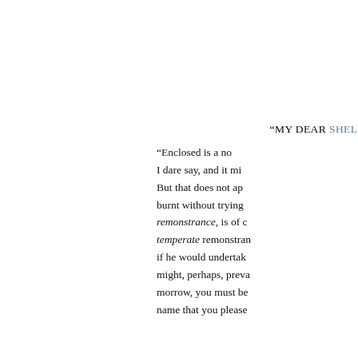“MY DEAR SHELL
“Enclosed is a no I dare say, and it mi But that does not ap burnt without trying remonstrance, is of c temperate remonstran if he would undertak might, perhaps, preva morrow, you must be name that you please